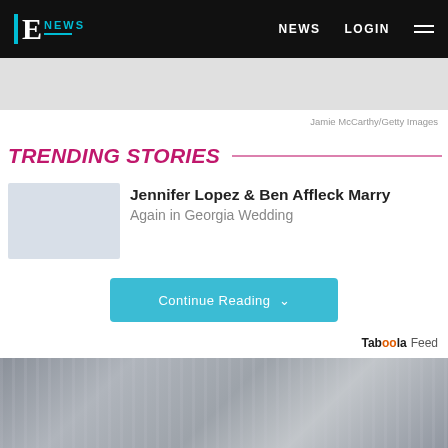E! NEWS — NEWS | LOGIN
[Figure (other): Gray advertisement placeholder banner]
Jamie McCarthy/Getty Images
TRENDING STORIES
[Figure (photo): Thumbnail placeholder for Jennifer Lopez & Ben Affleck story]
Jennifer Lopez & Ben Affleck Marry Again in Georgia Wedding
Continue Reading
Taboola Feed
[Figure (photo): Bottom image showing jewelry/beads against wooden background]